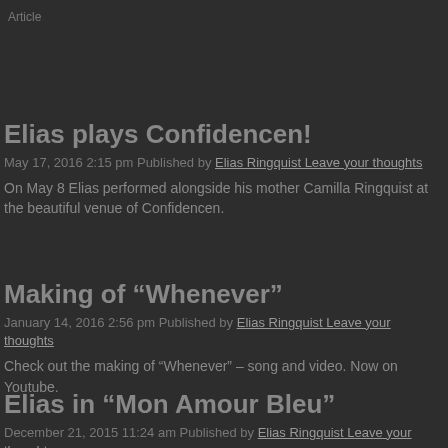Article
Elias plays Confidencen!
May 17, 2016 2:15 pm Published by Elias Ringquist Leave your thoughts
On May 8 Elias performed alongside his mother Camilla Ringquist at the beautiful venue of Confidencen.
Making of “Whenever”
January 14, 2016 2:56 pm Published by Elias Ringquist Leave your thoughts
Check out the making of “Whenever” – song and video. Now on Youtube.
Elias in “Mon Amour Bleu”
December 21, 2015 11:24 am Published by Elias Ringquist Leave your thoughts